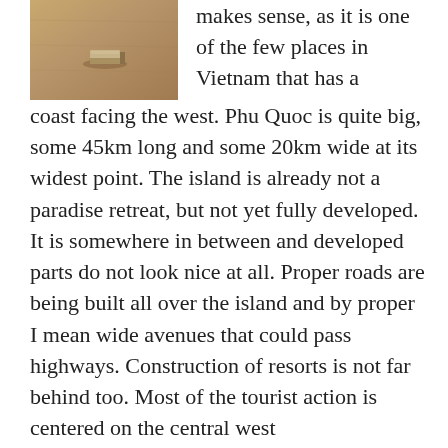[Figure (photo): A small rectangular object sitting on a wooden surface, viewed from above.]
makes sense, as it is one of the few places in Vietnam that has a coast facing the west. Phu Quoc is quite big, some 45km long and some 20km wide at its widest point. The island is already not a paradise retreat, but not yet fully developed. It is somewhere in between and developed parts do not look nice at all. Proper roads are being built all over the island and by proper I mean wide avenues that could pass highways. Construction of resorts is not far behind too. Most of the tourist action is centered on the central west